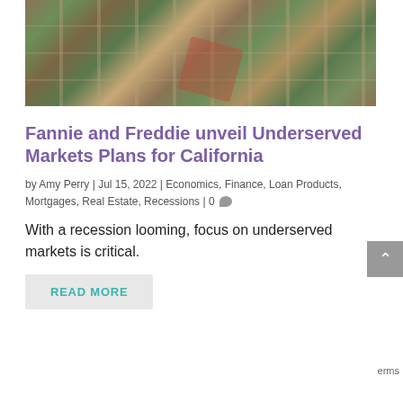[Figure (photo): Aerial view of a residential neighborhood with houses, rooftops, trees, and streets visible from above]
Fannie and Freddie unveil Underserved Markets Plans for California
by Amy Perry | Jul 15, 2022 | Economics, Finance, Loan Products, Mortgages, Real Estate, Recessions | 0
With a recession looming, focus on underserved markets is critical.
READ MORE